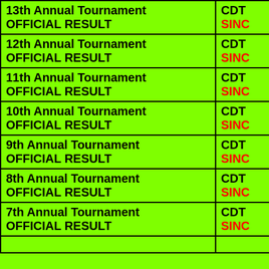| Tournament | Info |
| --- | --- |
| 13th Annual Tournament / OFFICIAL RESULT | CDT / SINC |
| 12th Annual Tournament / OFFICIAL RESULT | CDT / SINC |
| 11th Annual Tournament / OFFICIAL RESULT | CDT / SINC |
| 10th Annual Tournament / OFFICIAL RESULT | CDT / SINC |
| 9th Annual Tournament / OFFICIAL RESULT | CDT / SINC |
| 8th Annual Tournament / OFFICIAL RESULT | CDT / SINC |
| 7th Annual Tournament / OFFICIAL RESULT | CDT / SINC |